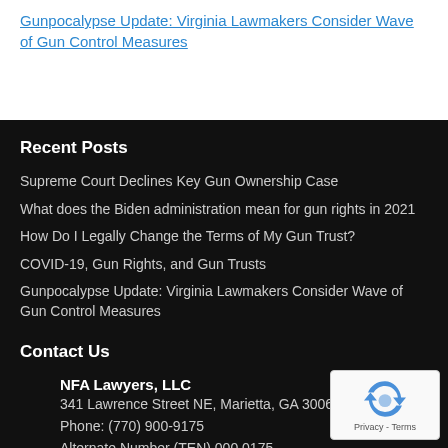Gunpocalypse Update: Virginia Lawmakers Consider Wave of Gun Control Measures
Recent Posts
Supreme Court Declines Key Gun Ownership Case
What does the Biden administration mean for gun rights in 2021
How Do I Legally Change the Terms of My Gun Trust?
COVID-19, Gun Rights, and Gun Trusts
Gunpocalypse Update: Virginia Lawmakers Consider Wave of Gun Control Measures
Contact Us
NFA Lawyers, LLC
341 Lawrence Street NE, Marietta, GA 30060Office
Phone: (770) 900-9175
Alternate Number (TEN) 000 0175